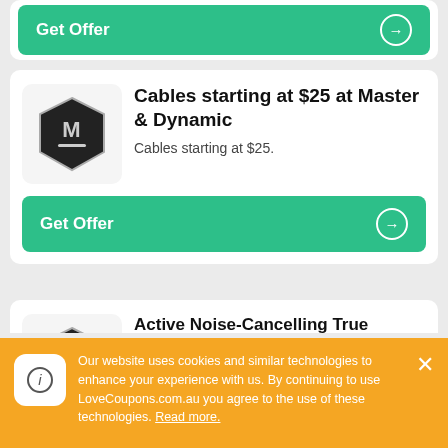[Figure (logo): Get Offer button (green) at top of page - partial card]
Cables starting at $25 at Master & Dynamic
Cables starting at $25.
Get Offer
[Figure (logo): Master & Dynamic hexagon logo (black M on dark hexagon)]
Active Noise-Cancelling True Wireless Earphones For $349 at Master &
[Figure (logo): Master & Dynamic hexagon logo (black M on dark hexagon)]
Our website uses cookies and similar technologies to enhance your experience with us. By continuing to use LoveCoupons.com.au you agree to the use of these technologies. Read more.